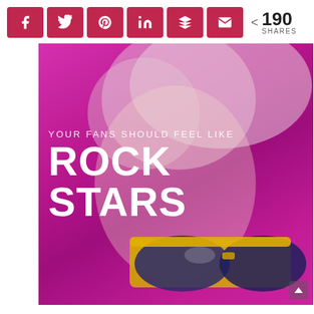[Figure (infographic): Social share buttons row: Facebook, Twitter, Pinterest, LinkedIn, Buffer/layers, Email icons in red rounded squares, followed by a share count showing 190 SHARES]
[Figure (photo): Person with pink/blonde short hair and yellow sunglasses against a bright magenta/purple background. Overlaid text reads: 'YOUR FANS SHOULD FEEL LIKE' and large 'ROCK STARS']